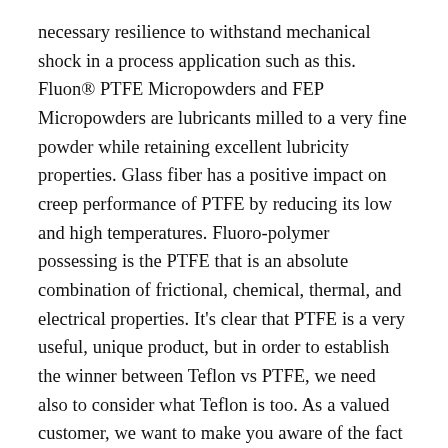necessary resilience to withstand mechanical shock in a process application such as this. Fluon® PTFE Micropowders and FEP Micropowders are lubricants milled to a very fine powder while retaining excellent lubricity properties. Glass fiber has a positive impact on creep performance of PTFE by reducing its low and high temperatures. Fluoro-polymer possessing is the PTFE that is an absolute combination of frictional, chemical, thermal, and electrical properties. It's clear that PTFE is a very useful, unique product, but in order to establish the winner between Teflon vs PTFE, we need also to consider what Teflon is too. As a valued customer, we want to make you aware of the fact that the following products are in very tight global supply: PTFE: all grades FEP: some grades PFA: all grades ETFE: all grades (text continues below)